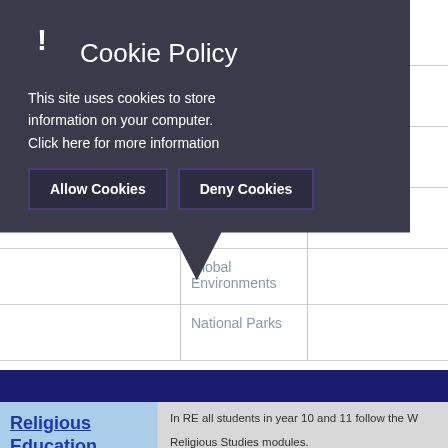|  | Topics / Content | Qualification |
| --- | --- | --- |
|  | Rainforests | Hitler, h... |
|  | Deforestation | Terror... |
|  | Global Environments | Germa... |
|  | National Parks | today |
[Figure (screenshot): Cookie policy modal overlay with 'Allow Cookies' and 'Deny Cookies' buttons]
| Subject | Description | Module 1 | Module 2 |
| --- | --- | --- | --- |
| Religious Education | In RE all students in year 10 and 11 follow the W... Religious Studies modules. | Places of Worship
6237/E2 | Religio...
6238/E... |